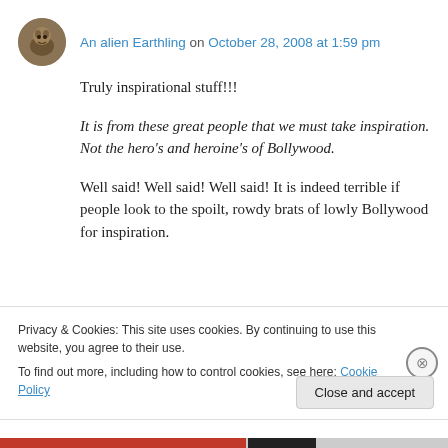An alien Earthling on October 28, 2008 at 1:59 pm
Truly inspirational stuff!!!
It is from these great people that we must take inspiration. Not the hero's and heroine's of Bollywood.
Well said! Well said! Well said! It is indeed terrible if people look to the spoilt, rowdy brats of lowly Bollywood for inspiration.
Privacy & Cookies: This site uses cookies. By continuing to use this website, you agree to their use. To find out more, including how to control cookies, see here: Cookie Policy
Close and accept